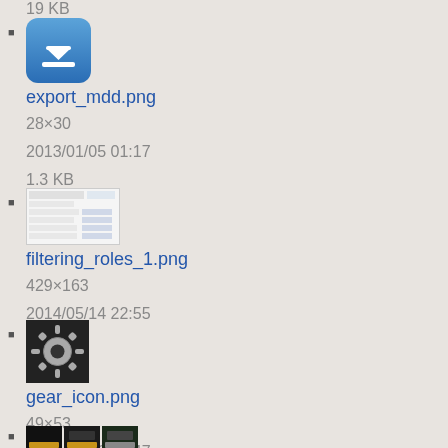19 KB
export_mdd.png
28×30
2013/01/05 01:17
1.3 KB
filtering_roles_1.png
429×163
2014/05/14 22:55
9.1 KB
gear_icon.png
49×53
2013/07/26 16:47
3 KB
(partial item with thumbnail)